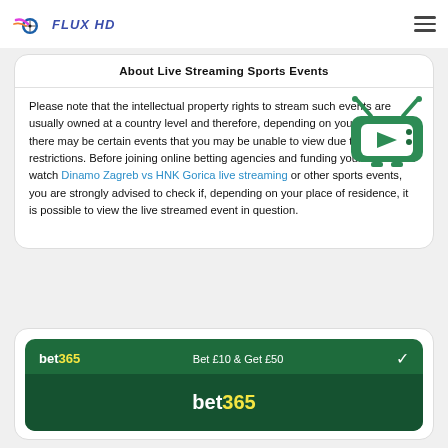FLUX HD
About Live Streaming Sports Events
Please note that the intellectual property rights to stream such events are usually owned at a country level and therefore, depending on your location, there may be certain events that you may be unable to view due to such restrictions. Before joining online betting agencies and funding your account to watch Dinamo Zagreb vs HNK Gorica live streaming or other sports events, you are strongly advised to check if, depending on your place of residence, it is possible to view the live streamed event in question.
[Figure (illustration): Green retro TV icon with a play button]
[Figure (logo): bet365 banner with 'Bet £10 & Get £50' offer and checkmark]